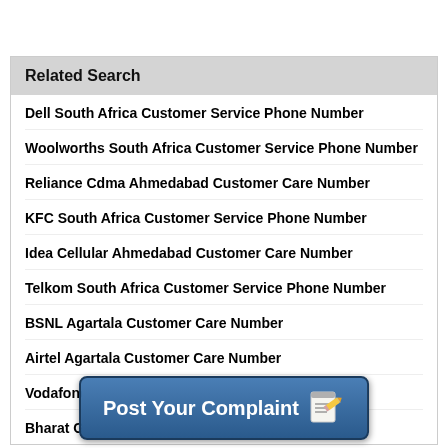Related Search
Dell South Africa Customer Service Phone Number
Woolworths South Africa Customer Service Phone Number
Reliance Cdma Ahmedabad Customer Care Number
KFC South Africa Customer Service Phone Number
Idea Cellular Ahmedabad Customer Care Number
Telkom South Africa Customer Service Phone Number
BSNL Agartala Customer Care Number
Airtel Agartala Customer Care Number
Vodafone Agartala Customer Care Number
Bharat Gas Agartala Customer Care Number
[Figure (screenshot): Post Your Complaint button with notepad and pencil icon]